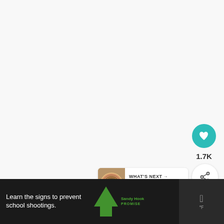[Figure (screenshot): Light gray/white blank content area, upper portion of webpage]
[Figure (infographic): Teal circular heart/like button with heart icon, count showing 1.7K below, white circular share button with share icon]
[Figure (screenshot): What's Next card with thumbnail image of colorful jelly roll rug, text: WHAT'S NEXT → How to Make a Jelly Roll Rug]
The stitches themselves are the culmination of
[Figure (screenshot): Dark advertisement banner: 'Learn the signs to prevent school shootings.' with Sandy Hook Promise logo and tree graphic, close X buttons, weather/other widget on right side]